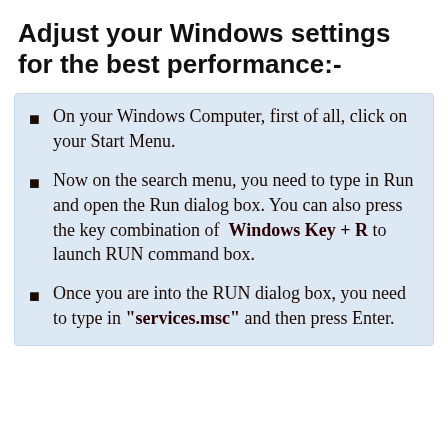Adjust your Windows settings for the best performance:-
On your Windows Computer, first of all, click on your Start Menu.
Now on the search menu, you need to type in Run and open the Run dialog box. You can also press the key combination of Windows Key + R to launch RUN command box.
Once you are into the RUN dialog box, you need to type in "services.msc" and then press Enter.